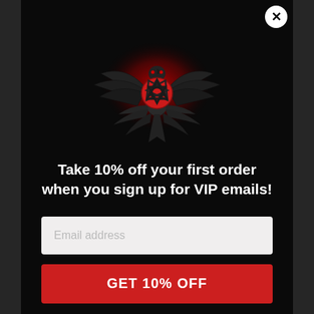[Figure (logo): Dark raven/eagle with spread wings holding a red Valknut (Viking triangles) symbol, with a red radial glow behind it on black background]
Take 10% off your first order when you sign up for VIP emails!
[Figure (other): Email address input field with placeholder text 'Email address']
GET 10% OFF